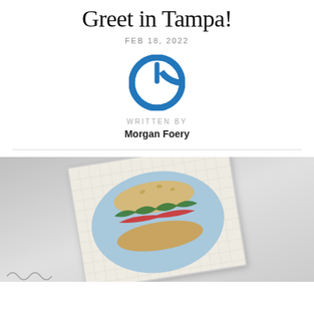Greet in Tampa!
FEB 18, 2022
[Figure (logo): Blue circular power button logo icon]
WRITTEN BY
Morgan Foery
[Figure (photo): Close-up photo of a needlepoint canvas on mesh fabric showing a burger or sandwich design on a light blue oval background, photographed at an angle on a gray surface]